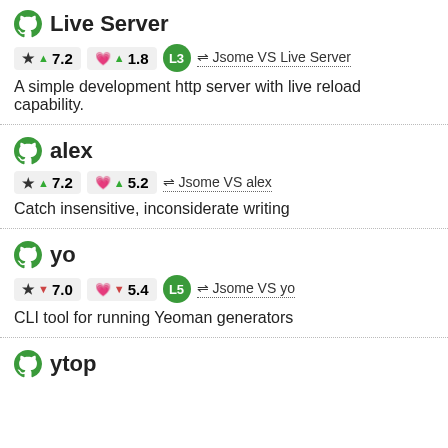Live Server
★ ▲7.2   ♥ ▲1.8   L3   ⇌ Jsome VS Live Server
A simple development http server with live reload capability.
alex
★ ▲7.2   ♥ ▲5.2   ⇌ Jsome VS alex
Catch insensitive, inconsiderate writing
yo
★ ▼7.0   ♥ ▼5.4   L5   ⇌ Jsome VS yo
CLI tool for running Yeoman generators
ytop